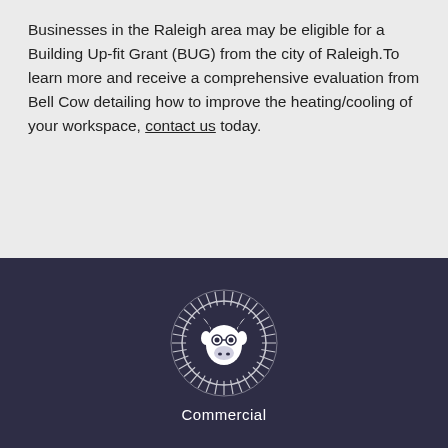Businesses in the Raleigh area may be eligible for a Building Up-fit Grant (BUG) from the city of Raleigh.To learn more and receive a comprehensive evaluation from Bell Cow detailing how to improve the heating/cooling of your workspace, contact us today.
[Figure (logo): Bell Cow circular logo featuring a cow head illustration with radiating lines around the border, white on dark navy background]
Commercial